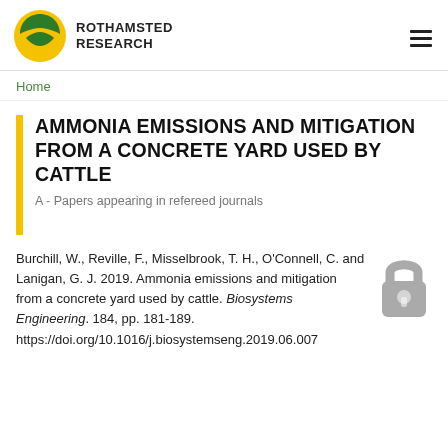ROTHAMSTED RESEARCH
Home
AMMONIA EMISSIONS AND MITIGATION FROM A CONCRETE YARD USED BY CATTLE
A - Papers appearing in refereed journals
Burchill, W., Reville, F., Misselbrook, T. H., O'Connell, C. and Lanigan, G. J. 2019. Ammonia emissions and mitigation from a concrete yard used by cattle. Biosystems Engineering. 184, pp. 181-189. https://doi.org/10.1016/j.biosystemseng.2019.06.007